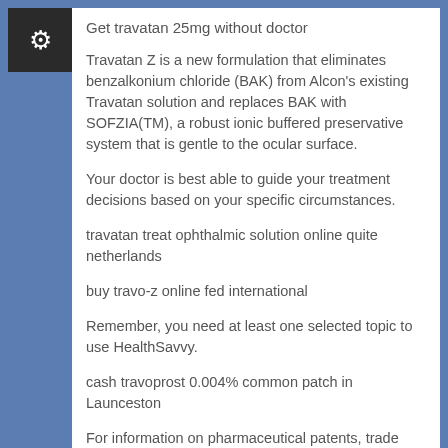Get travatan 25mg without doctor
Travatan Z is a new formulation that eliminates benzalkonium chloride (BAK) from Alcon's existing Travatan solution and replaces BAK with SOFZIA(TM), a robust ionic buffered preservative system that is gentle to the ocular surface.
Your doctor is best able to guide your treatment decisions based on your specific circumstances.
travatan treat ophthalmic solution online quite netherlands
buy travo-z online fed international
Remember, you need at least one selected topic to use HealthSavvy.
cash travoprost 0.004% common patch in Launceston
For information on pharmaceutical patents, trade marks, competition law, patent licensing, generic entry, abuse of